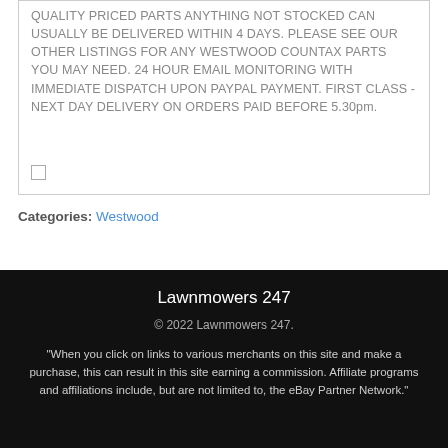QUALITY PRICED PARTS ANYTHING NOT STOCKED CAN USUALLY BE DELIVERED WITHIN 4 DAYS. PLEASE SEE OUR OTHER LISTINGS FOR ANY WESTWOOD COUNTAX PARTS YOU MAY NEED. 24 HOUR EMAIL MONITORING WITH IMMEDIATE DISPATCH UPON PAYPAL PAYMENT. FIRST CLASS - NEXT DAY DELIVERY ON ORDERS PAID BEFORE 5.30pm.
Categories: Westwood
Lawnmowers 247
© 2022 Lawnmowers 247.
"When you click on links to various merchants on this site and make a purchase, this can result in this site earning a commission. Affiliate programs and affiliations include, but are not limited to, the eBay Partner Network."